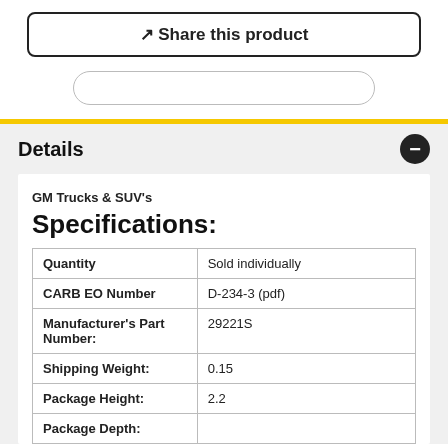Share this product
Details
GM Trucks & SUV's
Specifications:
|  |  |
| --- | --- |
| Quantity | Sold individually |
| CARB EO Number | D-234-3 (pdf) |
| Manufacturer's Part Number: | 29221S |
| Shipping Weight: | 0.15 |
| Package Height: | 2.2 |